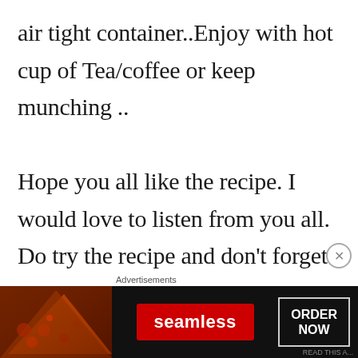air tight container..Enjoy with hot cup of Tea/coffee or keep munching ..
Hope you all like the recipe. I would love to listen from you all. Do try the recipe and don't forget to share your feedback with
[Figure (screenshot): Advertisement banner for Seamless food delivery service showing pizza slices on the left, a red Seamless logo button in the center, and an ORDER NOW button on the right, on a dark background.]